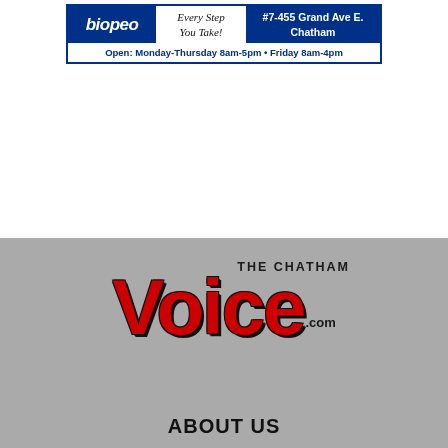[Figure (other): Advertisement for Biopeo with logo, tagline 'Every Step You Take!', address #7-455 Grand Ave E. Chatham, and hours: Open: Monday-Thursday 8am-5pm • Friday 8am-4pm]
[Figure (logo): The Chatham Voice .com logo on gray background — large red bold 'Voice' text with 'THE CHATHAM' above and '.com' to the right]
ABOUT US